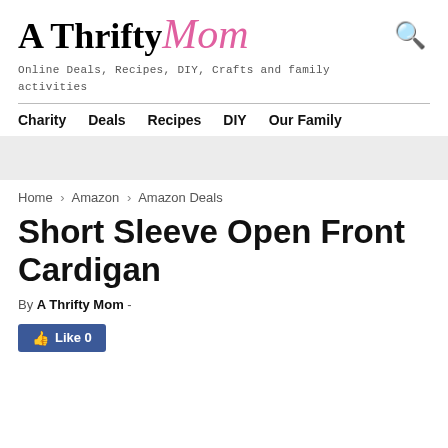A Thrifty Mom
Online Deals, Recipes, DIY, Crafts and family activities
Charity   Deals   Recipes   DIY   Our Family
Home › Amazon › Amazon Deals
Short Sleeve Open Front Cardigan
By A Thrifty Mom -
[Figure (other): Facebook Like button showing Like 0]